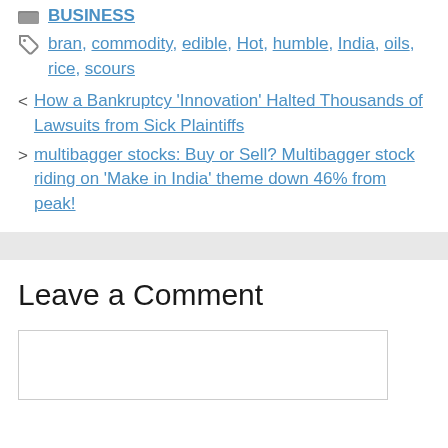BUSINESS
bran, commodity, edible, Hot, humble, India, oils, rice, scours
< How a Bankruptcy ‘Innovation’ Halted Thousands of Lawsuits from Sick Plaintiffs
> multibagger stocks: Buy or Sell? Multibagger stock riding on ‘Make in India’ theme down 46% from peak!
Leave a Comment